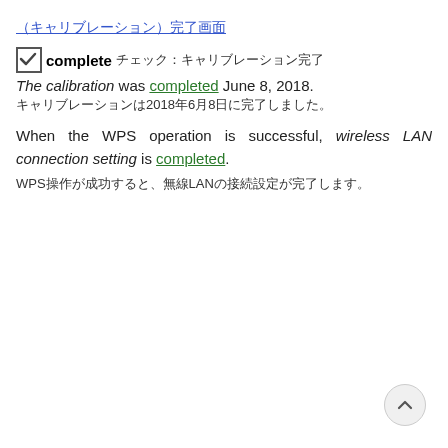(キャリブレーション)完了画面
☑ complete チェック: キャリブレーション完了
The calibration was completed June 8, 2018.
キャリブレーションは2018年6月8日に完了しました。
When the WPS operation is successful, wireless LAN connection setting is completed.
WPS操作が成功すると、無線LANの接続設定が完了します。